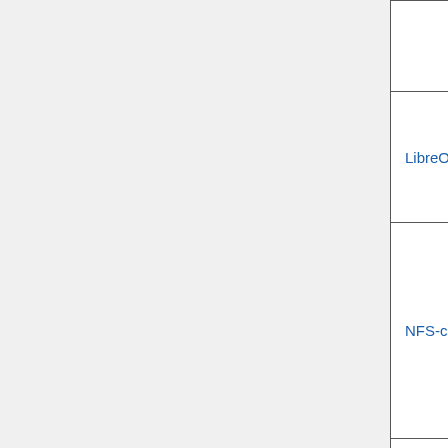| Package | Version | Description |
| --- | --- | --- |
| Graphical... (SVG) |  | Graphical... (SVG)... |
| LibreOffice | 3.5.4 | Provides support for Normal... of doc... |
| NFS-common | 1.1.4 | Network File System Access... allows to files... network storage device... |
| PyODConverter Daemon |  | Provides support for Normal... |